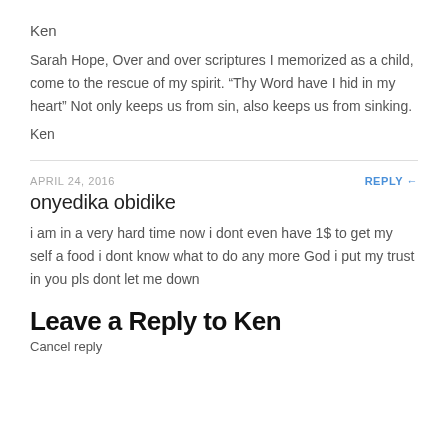Ken
Sarah Hope, Over and over scriptures I memorized as a child, come to the rescue of my spirit. “Thy Word have I hid in my heart” Not only keeps us from sin, also keeps us from sinking.
Ken
APRIL 24, 2016
REPLY
onyedika obidike
i am in a very hard time now i dont even have 1$ to get my self a food i dont know what to do any more God i put my trust in you pls dont let me down
Leave a Reply to Ken
Cancel reply